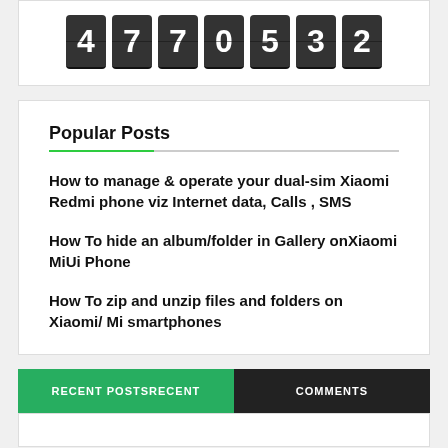[Figure (other): Flip counter showing the number 4770532 with dark digit tiles]
Popular Posts
How to manage & operate your dual-sim Xiaomi Redmi phone viz Internet data, Calls , SMS
How To hide an album/folder in Gallery onXiaomi MiUi Phone
How To zip and unzip files and folders on Xiaomi/ Mi smartphones
RECENT POSTSRECENT   COMMENTS